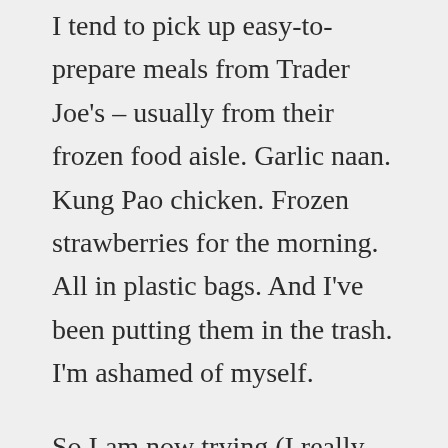I tend to pick up easy-to-prepare meals from Trader Joe's – usually from their frozen food aisle. Garlic naan. Kung Pao chicken. Frozen strawberries for the morning. All in plastic bags. And I've been putting them in the trash. I'm ashamed of myself.
So I am now trying (I really am) to separate what goes into my trash